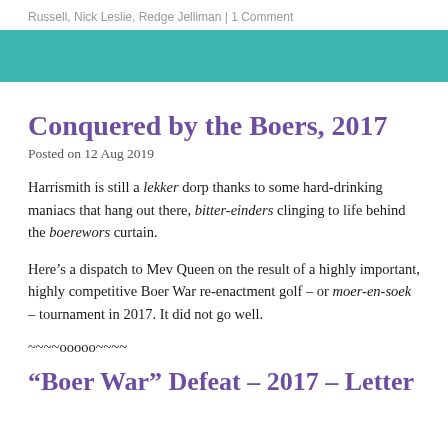Russell, Nick Leslie, Redge Jelliman | 1 Comment
[Figure (other): Teal/turquoise decorative horizontal bar]
Conquered by the Boers, 2017
Posted on 12 Aug 2019
Harrismith is still a lekker dorp thanks to some hard-drinking maniacs that hang out there, bitter-einders clinging to life behind the boerewors curtain.
Here’s a dispatch to Mev Queen on the result of a highly important, highly competitive Boer War re-enactment golf – or moer-en-soek – tournament in 2017. It did not go well.
~~~~ooooo~~~~
“Boer War” Defeat – 2017 – Letter